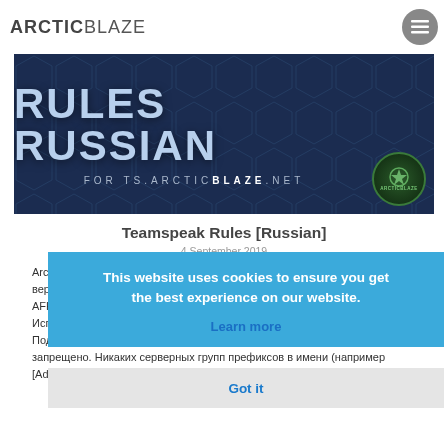ARCTICBLAZE
[Figure (illustration): Dark navy blue banner with large text 'RULES RUSSIAN' and subtitle 'FOR TS.ARCTICBLAZE.NET' with hexagon pattern background and ArcticBlaze logo circle in bottom right]
Teamspeak Rules [Russian]
4 September 2019
ArcticBlaze Teamspeak Rules Russian. This is the Russian version (Русская версия) of the ArcticBlaze Teamspeak Rules. Teamspeak правила. Общий В AFK хозяйства уровней запрещены и влекут выравнивающий запрет. Имя Использование нецензурных слов в имени твоего запрещено. Поддельные члены команды, члены клана, друзья или известные лица запрещено. Никаких серверных групп префиксов в имени (например [Admin]
This website uses cookies to ensure you get the best experience on our website.
Learn more
Got it